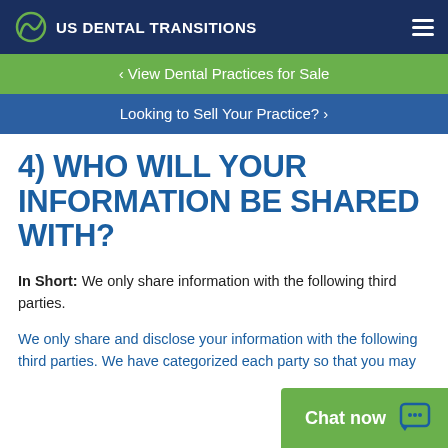US DENTAL TRANSITIONS
< View Dental Practices for Sale
Looking to Sell Your Practice? >
4) WHO WILL YOUR INFORMATION BE SHARED WITH?
In Short: We only share information with the following third parties.
We only share and disclose your information with the following third parties. We have categorized each party so that you may